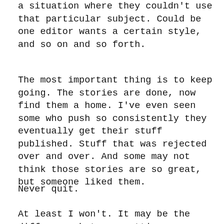a situation where they couldn't use that particular subject. Could be one editor wants a certain style, and so on and so forth.
The most important thing is to keep going. The stories are done, now find them a home. I've even seen some who push so consistently they eventually get their stuff published. Stuff that was rejected over and over. And some may not think those stories are so great, but someone liked them.
Never quit.
At least I won't. It may be the difference between getting published